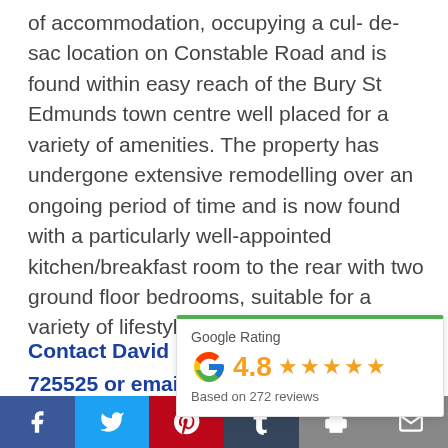of accommodation, occupying a cul- de-sac location on Constable Road and is found within easy reach of the Bury St Edmunds town centre well placed for a variety of amenities. The property has undergone extensive remodelling over an ongoing period of time and is now found with a particularly well-appointed kitchen/breakfast room to the rear with two ground floor bedrooms, suitable for a variety of lifestyles.
Contact David Burr B... 725525 or email bury(...
[Figure (infographic): Google Rating widget showing 4.8 stars based on 272 reviews with green top border]
[Figure (infographic): Social media share bar with Facebook, Twitter, Pinterest, Tumblr, Print, and Email icons]